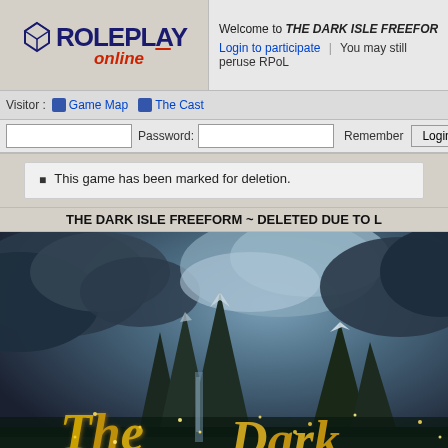Welcome to THE DARK ISLE FREEFORM ~ DE... | Login to participate | You may still peruse RPoL
Visitor : Game Map | The Cast
Password: [input] Remember [checkbox] Login [button]
This game has been marked for deletion.
THE DARK ISLE FREEFORM ~ DELETED DUE TO L
[Figure (illustration): Fantasy landscape with dark stormy mountains and clouds, with golden stylized text reading 'The Dark' overlaid on the lower portion]
Main Menu | Game Menu | Private Messages | Jump | <0.004s